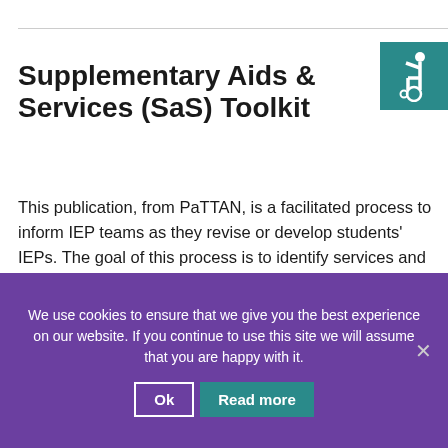[Figure (logo): Accessibility wheelchair icon on teal/dark cyan background, top right corner]
Supplementary Aids & Services (SaS) Toolkit
This publication, from PaTTAN, is a facilitated process to inform IEP teams as they revise or develop students' IEPs. The goal of this process is to identify services and supports to enable students with disabilities to participate and succeed in general education settings.  It tackles the basics so that family members can determine whether it is
We use cookies to ensure that we give you the best experience on our website. If you continue to use this site we will assume that you are happy with it.
Ok   Read more